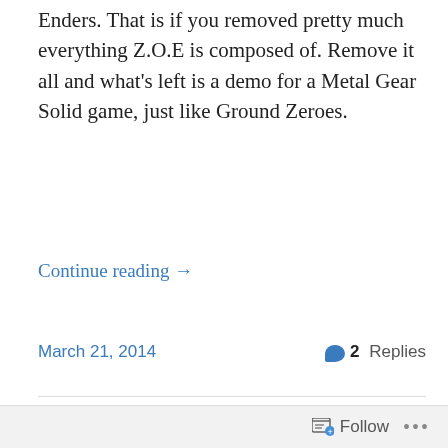Enders. That is if you removed pretty much everything Z.O.E is composed of. Remove it all and what's left is a demo for a Metal Gear Solid game, just like Ground Zeroes.
Continue reading →
March 21, 2014
2 Replies
Retro Review: Langrisser IV (Import)
[Figure (illustration): Anime-style artwork showing a character with white spiky hair against a blue background with red diagonal elements]
Follow